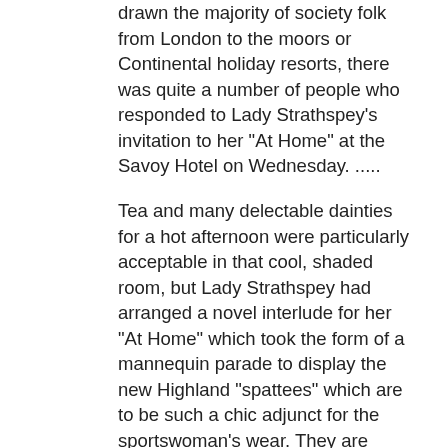drawn the majority of society folk from London to the moors or Continental holiday resorts, there was quite a number of people who responded to Lady Strathspey's invitation to her "At Home" at the Savoy Hotel on Wednesday. .....
Tea and many delectable dainties for a hot afternoon were particularly acceptable in that cool, shaded room, but Lady Strathspey had arranged a novel interlude for her "At Home" which took the form of a mannequin parade to display the new Highland "spattees" which are to be such a chic adjunct for the sportswoman's wear. They are intended to replace Russian boots, the ugliness of which made them unpopular with most women. The new "spattees" are of shower-proofed wool or tweed and shaped to fit the leg, spat fashion, extending to the knee, with a fancy turnover top. Naturally, the guests were immensely interested in the novelty, and one or two caused no small amusement by trying on the "spattees" then and there.